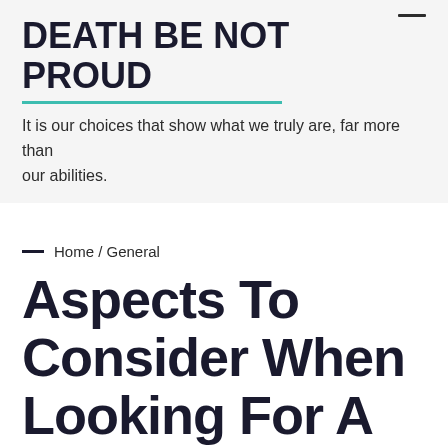DEATH BE NOT PROUD
It is our choices that show what we truly are, far more than our abilities.
Home / General
Aspects To Consider When Looking For A Steroid